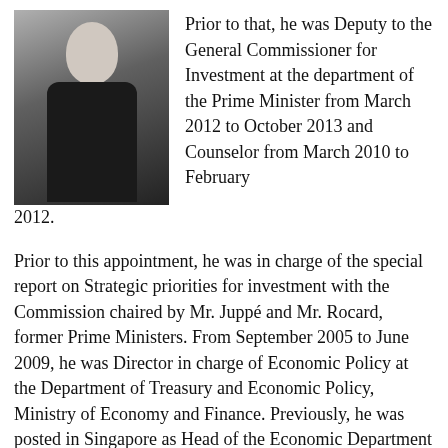[Figure (photo): Portrait photo of a man in a dark suit with a red tie, upper body visible against white background]
Prior to that, he was Deputy to the General Commissioner for Investment at the department of the Prime Minister from March 2012 to October 2013 and Counselor from March 2010 to February 2012.
Prior to this appointment, he was in charge of the special report on Strategic priorities for investment with the Commission chaired by Mr. Juppé and Mr. Rocard, former Prime Ministers. From September 2005 to June 2009, he was Director in charge of Economic Policy at the Department of Treasury and Economic Policy, Ministry of Economy and Finance. Previously, he was posted in Singapore as Head of the Economic Department for ASEAN at the Embassy of France. From 2002 to 2004, he served as Counselor for macro economy and public finances on the staff of the Minister of Economy and Finance. From 1999 to 2002, Mr. Bouyoux was Head of the Financial and Economic Department at the Embassy of France in Brazil. In 1997-1999, he was Deputy Assistant Secretary in charge of macroeconomic and financial policy;